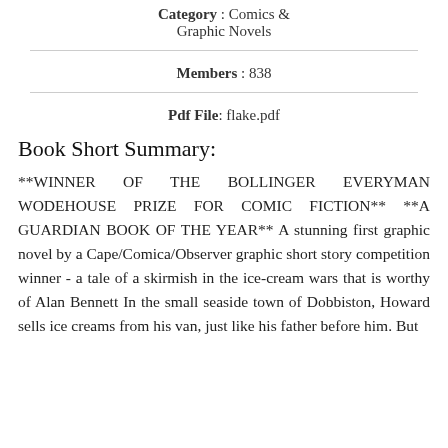Category : Comics & Graphic Novels
Members : 838
Pdf File : flake.pdf
Book Short Summary:
**WINNER OF THE BOLLINGER EVERYMAN WODEHOUSE PRIZE FOR COMIC FICTION** **A GUARDIAN BOOK OF THE YEAR** A stunning first graphic novel by a Cape/Comica/Observer graphic short story competition winner - a tale of a skirmish in the ice-cream wars that is worthy of Alan Bennett In the small seaside town of Dobbiston, Howard sells ice creams from his van, just like his father before him. But